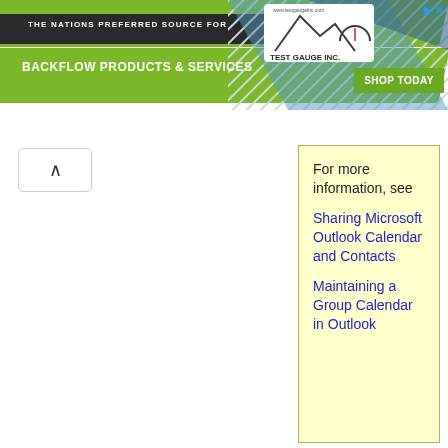THE NATIONS PREFERRED SOURCE FOR BACKFLOW PRODUCTS & SERVICES
[Figure (logo): Test Gauge Inc. logo with mountain/gauge graphic]
[Figure (infographic): Shop Today green button]
For more information, see
Sharing Microsoft Outlook Calendar and Contacts
Maintaining a Group Calendar in Outlook